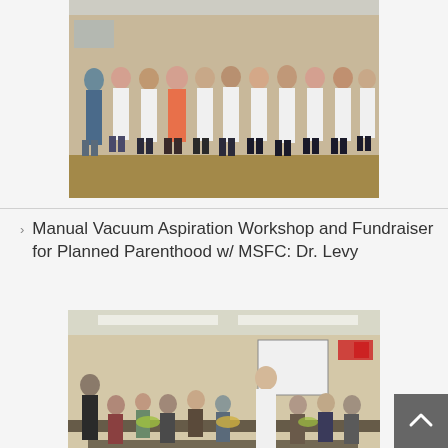[Figure (photo): Group of people in white coats standing together in a room, likely a medical or academic setting.]
Manual Vacuum Aspiration Workshop and Fundraiser for Planned Parenthood w/ MSFC: Dr. Levy
[Figure (photo): Workshop scene with students and instructor (in white coat) gathered around tables in a classroom/lab setting.]
General Meeting and Elections- Tues, Feb 7 2017 at 12pm
Valentine's Day Grams Fundraiser for Living Grace Homes w/MSFC- Thurs, Feb 9 at 12pm